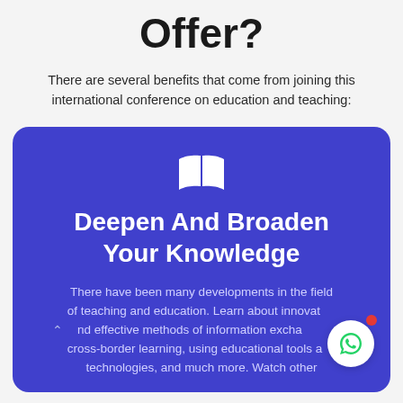Offer?
There are several benefits that come from joining this international conference on education and teaching:
[Figure (illustration): Blue rounded card with a white open book icon, bold white title 'Deepen And Broaden Your Knowledge', and descriptive text about developments in teaching and education. A WhatsApp chat button with a red notification dot is overlaid in the bottom right corner.]
Deepen And Broaden Your Knowledge
There have been many developments in the field of teaching and education. Learn about innovative and effective methods of information exchange, cross-border learning, using educational tools and technologies, and much more. Watch other